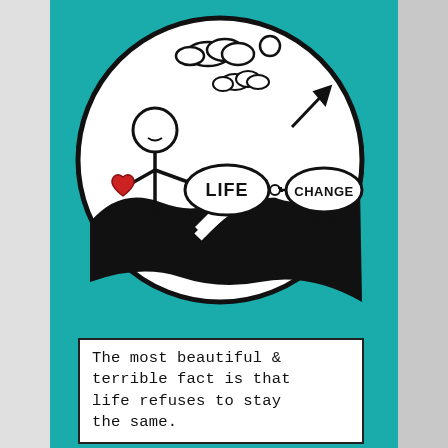[Figure (illustration): Hand-drawn style illustration on teal background. A large white circle contains: a stick figure person holding a red heart, standing on a wavy black hill/road. Two speech-bubble-like oval labels read 'LIFE' and 'CHANGE', connected by a small key symbol. An arrow points upper-right from the CHANGE bubble. Clouds and a sun are visible in the upper part of the circle.]
The most beautiful & terrible fact is that life refuses to stay the same.